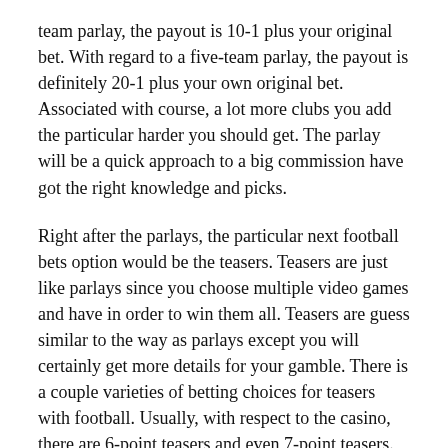team parlay, the payout is 10-1 plus your original bet. With regard to a five-team parlay, the payout is definitely 20-1 plus your own original bet. Associated with course, a lot more clubs you add the particular harder you should get. The parlay will be a quick approach to a big commission have got the right knowledge and picks.
Right after the parlays, the particular next football bets option would be the teasers. Teasers are just like parlays since you choose multiple video games and have in order to win them all. Teasers are guess similar to the way as parlays except you will certainly get more details for your gamble. There is a couple varieties of betting choices for teasers with football. Usually, with respect to the casino, there are 6-point teasers and even 7-point teasers.
A person may be considering to yourself in case